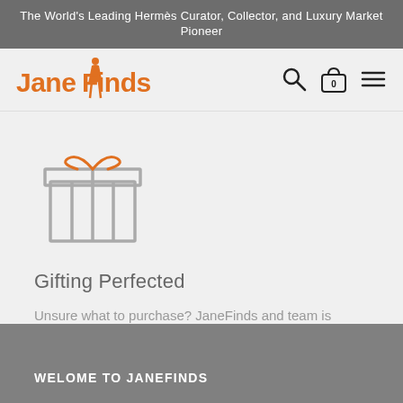The World's Leading Hermès Curator, Collector, and Luxury Market Pioneer
[Figure (logo): JaneFinds logo with orange silhouette figure and orange/gray text]
[Figure (illustration): Gift box icon in gray outline style with orange bow]
Gifting Perfected
Unsure what to purchase? JaneFinds and team is available to personally guide you and select the perfect bag.
WELOME TO JANEFINDS